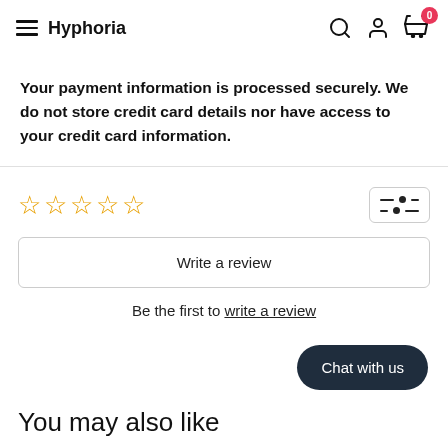Hyphoria
Your payment information is processed securely. We do not store credit card details nor have access to your credit card information.
☆☆☆☆☆
Write a review
Be the first to write a review
Chat with us
You may also like